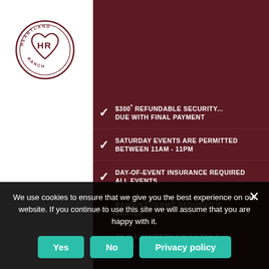[Figure (logo): Heartland Ranch logo — circular emblem with HR initials inside a heart, text 'HEARTLAND RANCH' around border]
IF REMAINING BALANCE IS... BEFORE THE SCHEDULED...
$300* REFUNDABLE SECURITY... DUE WITH FINAL PAYMENT
SATURDAY EVENTS ARE PERMITTED BETWEEN 11AM - 11PM
DAY-OF-EVENT INSURANCE REQUIRED ALL EVENTS
BANQUET PERMIT REQUIRED IF ... SERVED
8% WASHINGTON SALES TAX A... TOTAL
We use cookies to ensure that we give you the best experience on our website. If you continue to use this site we will assume that you are happy with it.